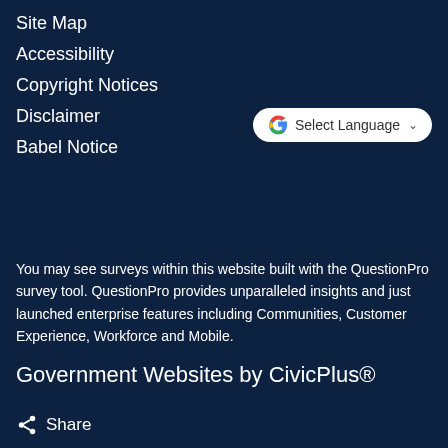Site Map
Accessibility
Copyright Notices
Disclaimer
Babel Notice
[Figure (other): Google Translate Select Language dropdown button with Google G logo and dropdown arrow]
You may see surveys within this website built with the QuestionPro survey tool. QuestionPro provides unparalleled insights and just launched enterprise features including Communities, Customer Experience, Workforce and Mobile.
Government Websites by CivicPlus®
Share